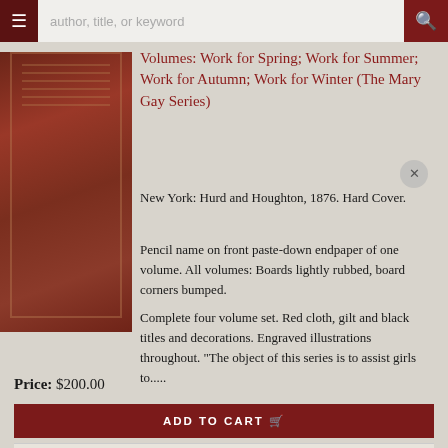Volumes: Work for Spring; Work for Summer; Work for Autumn; Work for Winter (The Mary Gay Series)
New York: Hurd and Houghton, 1876. Hard Cover.
Pencil name on front paste-down endpaper of one volume. All volumes: Boards lightly rubbed, board corners bumped.
Complete four volume set. Red cloth, gilt and black titles and decorations. Engraved illustrations throughout. "The object of this series is to assist girls to.....
Price: $200.00
ADD TO CART